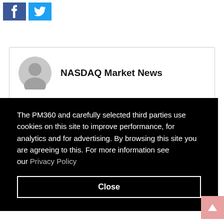[Figure (other): Facebook and Twitter social share buttons at top left]
[Figure (other): Author avatar placeholder (grey silhouette) with name NASDAQ Market News in a card]
The PM360 and carefully selected third parties use cookies on this site to improve performance, for analytics and for advertising. By browsing this site you are agreeing to this. For more information see our Privacy Policy
Close